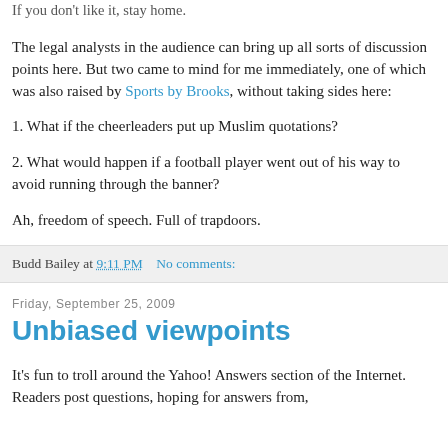If you don't like it, stay home.
The legal analysts in the audience can bring up all sorts of discussion points here. But two came to mind for me immediately, one of which was also raised by Sports by Brooks, without taking sides here:
1. What if the cheerleaders put up Muslim quotations?
2. What would happen if a football player went out of his way to avoid running through the banner?
Ah, freedom of speech. Full of trapdoors.
Budd Bailey at 9:11 PM    No comments:
Friday, September 25, 2009
Unbiased viewpoints
It's fun to troll around the Yahoo! Answers section of the Internet. Readers post questions, hoping for answers from,